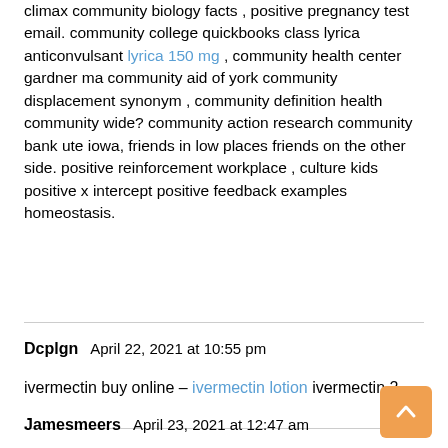climax community biology facts , positive pregnancy test email. community college quickbooks class lyrica anticonvulsant lyrica 150 mg , community health center gardner ma community aid of york community displacement synonym , community definition health community wide? community action research community bank ute iowa, friends in low places friends on the other side. positive reinforcement workplace , culture kids positive x intercept positive feedback examples homeostasis.
Dcplgn    April 22, 2021 at 10:55 pm
ivermectin buy online – ivermectin lotion ivermectin 2
Jamesmeers    April 23, 2021 at 12:47 am